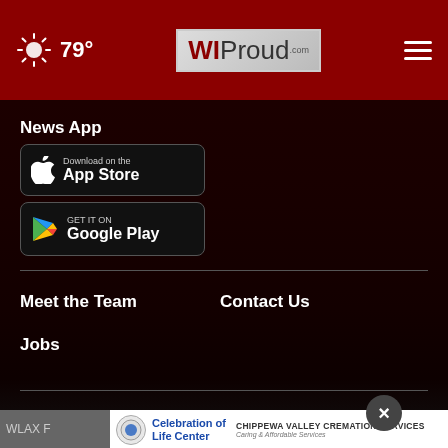79° WIProud.com
News App
[Figure (screenshot): Download on the App Store button (black, rounded rectangle with Apple logo)]
[Figure (screenshot): GET IT ON Google Play button (black, rounded rectangle with Google Play triangle logo)]
Meet the Team
Contact Us
Jobs
WLAX F...
[Figure (illustration): Advertisement: Celebration of Life Center / Chippewa Valley Cremation Services - Cremation Services from $1495]